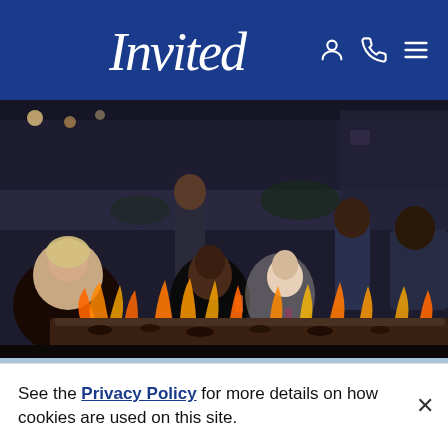Invited (logo) — navigation header with account, phone, and menu icons
[Figure (photo): Group of friends socializing and laughing around an outdoor fire pit table at an upscale venue, evening setting]
[Figure (photo): Aerial view of a large football stadium packed with spectators, mountains in background, large video scoreboard visible on right]
See the Privacy Policy for more details on how cookies are used on this site.